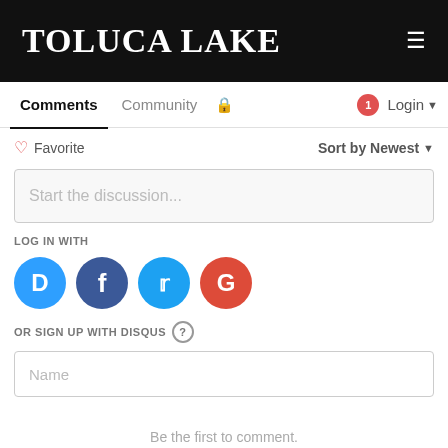Toluca Lake
Comments | Community | Login
Favorite | Sort by Newest
Start the discussion...
LOG IN WITH
[Figure (logo): Social login icons: Disqus, Facebook, Twitter, Google]
OR SIGN UP WITH DISQUS
Name
Be the first to comment.